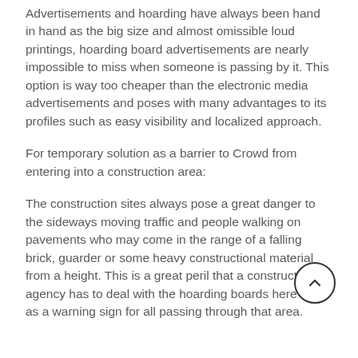Advertisements and hoarding have always been hand in hand as the big size and almost omissible loud printings, hoarding board advertisements are nearly impossible to miss when someone is passing by it. This option is way too cheaper than the electronic media advertisements and poses with many advantages to its profiles such as easy visibility and localized approach.
For temporary solution as a barrier to Crowd from entering into a construction area:
The construction sites always pose a great danger to the sideways moving traffic and people walking on pavements who may come in the range of a falling brick, guarder or some heavy constructional material from a height. This is a great peril that a construction agency has to deal with the hoarding boards here act as a warning sign for all passing through that area.